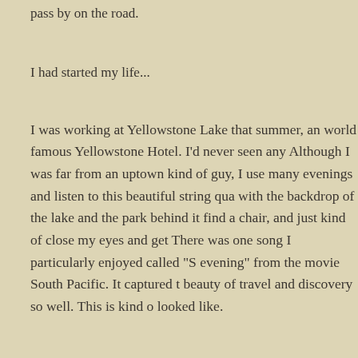pass by on the road.
I had started my life...
I was working at Yellowstone Lake that summer, an world famous Yellowstone Hotel. I'd never seen any Although I was far from an uptown kind of guy, I use many evenings and listen to this beautiful string qua with the backdrop of the lake and the park behind it find a chair, and just kind of close my eyes and get There was one song I particularly enjoyed called "S evening" from the movie South Pacific. It captured t beauty of travel and discovery so well. This is kind o looked like.